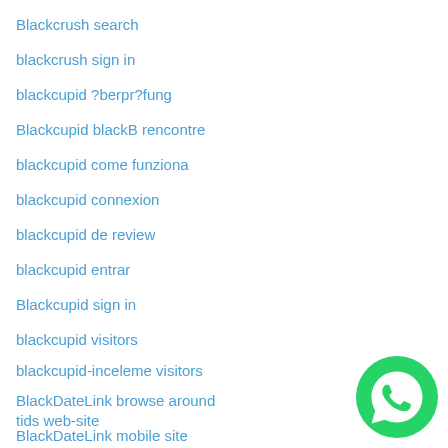Blackcrush search
blackcrush sign in
blackcupid ?berpr?fung
Blackcupid blackB rencontre
blackcupid come funziona
blackcupid connexion
blackcupid de review
blackcupid entrar
Blackcupid sign in
blackcupid visitors
blackcupid-inceleme visitors
BlackDateLink browse around tids web-site
BlackDateLink mobile site
BlackDatingForFree reviews
[Figure (logo): WhatsApp green circle logo with white phone handset icon]